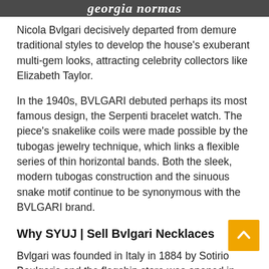georgia normas
Nicola Bvlgari decisively departed from demure traditional styles to develop the house's exuberant multi-gem looks, attracting celebrity collectors like Elizabeth Taylor.
In the 1940s, BVLGARI debuted perhaps its most famous design, the Serpenti bracelet watch. The piece's snakelike coils were made possible by the tubogas jewelry technique, which links a flexible series of thin horizontal bands. Both the sleek, modern tubogas construction and the sinuous snake motif continue to be synonymous with the BVLGARI brand.
Why SYUJ | Sell Bvlgari Necklaces
Bvlgari was founded in Italy in 1884 by Sotirio Boulgaris and the flagship store was opened in 1905 in Rome. Rue de la paix...